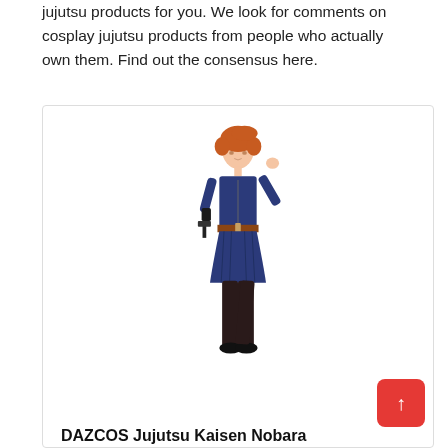jujutsu products for you. We look for comments on cosplay jujutsu products from people who actually own them. Find out the consensus here.
[Figure (illustration): A 3D rendered female character wearing a navy blue uniform dress with a brown belt, dark tights, and black shoes, with orange hair. She is posing with one hand raised near her head and the other at her side holding a small object. This appears to be a cosplay product image for DAZCOS Jujutsu Kaisen Nobara.]
DAZCOS Jujutsu Kaisen Nobara